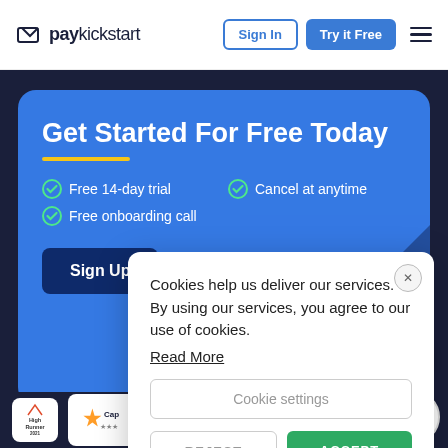[Figure (screenshot): PayKickstart website navigation bar with logo, Sign In button, Try it Free button, and hamburger menu]
Get Started For Free Today
Free 14-day trial
Cancel at anytime
Free onboarding call
Sign Up
[Figure (screenshot): Cookie consent modal overlay with text: Cookies help us deliver our services. By using our services, you agree to our use of cookies. Read More link, Cookie settings button, REJECT and ACCEPT buttons]
Cookies help us deliver our services. By using our services, you agree to our use of cookies.
Read More
Cookie settings
REJECT
ACCEPT
[Figure (logo): Bottom badges strip showing High Performer, Capterra, and Front Runners award badges]